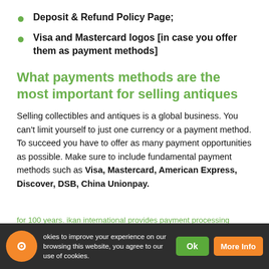Deposit & Refund Policy Page;
Visa and Mastercard logos [in case you offer them as payment methods]
What payments methods are the most important for selling antiques
Selling collectibles and antiques is a global business. You can't limit yourself to just one currency or a payment method. To succeed you have to offer as many payment opportunities as possible. Make sure to include fundamental payment methods such as Visa, Mastercard, American Express, Discover, DSB, China Unionpay.
okies to improve your experience on our browsing this website, you agree to our use of cookies.
for 100 years. ikan international provides payment processing